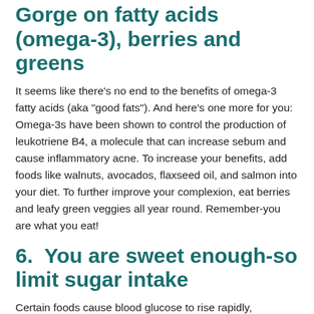Gorge on fatty acids (omega-3), berries and greens
It seems like there's no end to the benefits of omega-3 fatty acids (aka "good fats"). And here's one more for you: Omega-3s have been shown to control the production of leukotriene B4, a molecule that can increase sebum and cause inflammatory acne. To increase your benefits, add foods like walnuts, avocados, flaxseed oil, and salmon into your diet. To further improve your complexion, eat berries and leafy green veggies all year round. Remember-you are what you eat!
6.  You are sweet enough-so limit sugar intake
Certain foods cause blood glucose to rise rapidly, triggering a boost in insulin and resulting in inflammation on the cellular level. Excess levels of insulin in the bloodstream trigger a hormonal cascade and endocrine response that can lead to over-dry skin that may result in more pore-clogging material